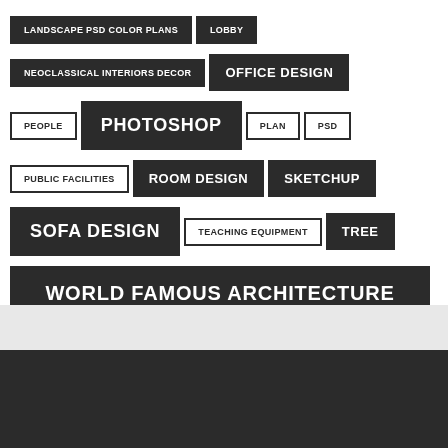LANDSCAPE PSD COLOR PLANS
LOBBY
NEOCLASSICAL INTERIORS DECOR
OFFICE DESIGN
PEOPLE
PHOTOSHOP
PLAN
PSD
PUBLIC FACILITIES
ROOM DESIGN
SKETCHUP
SOFA DESIGN
TEACHING EQUIPMENT
TREE
WORLD FAMOUS ARCHITECTURE
[Figure (logo): Logo image placeholder in dark footer]